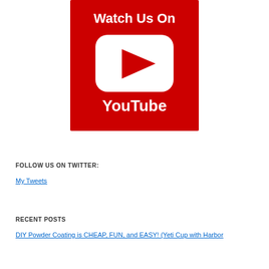[Figure (logo): Red YouTube button banner with white 'Watch Us On' text at top, YouTube play button icon in center (white rounded rectangle with red triangle play arrow), and white 'YouTube' text at bottom, all on red background]
FOLLOW US ON TWITTER:
My Tweets
RECENT POSTS
DIY Powder Coating is CHEAP, FUN, and EASY! (Yeti Cup with Harbor